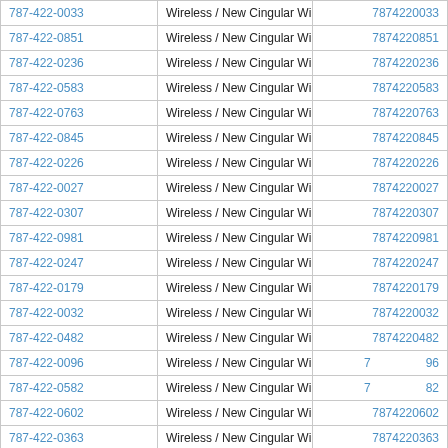| Phone Number | Carrier | Lookup Number |
| --- | --- | --- |
| 787-422-0033 | Wireless / New Cingular Wireless PCS - GA | 7874220033 |
| 787-422-0851 | Wireless / New Cingular Wireless PCS - GA | 7874220851 |
| 787-422-0236 | Wireless / New Cingular Wireless PCS - GA | 7874220236 |
| 787-422-0583 | Wireless / New Cingular Wireless PCS - GA | 7874220583 |
| 787-422-0763 | Wireless / New Cingular Wireless PCS - GA | 7874220763 |
| 787-422-0845 | Wireless / New Cingular Wireless PCS - GA | 7874220845 |
| 787-422-0226 | Wireless / New Cingular Wireless PCS - GA | 7874220226 |
| 787-422-0027 | Wireless / New Cingular Wireless PCS - GA | 7874220027 |
| 787-422-0307 | Wireless / New Cingular Wireless PCS - GA | 7874220307 |
| 787-422-0981 | Wireless / New Cingular Wireless PCS - GA | 7874220981 |
| 787-422-0247 | Wireless / New Cingular Wireless PCS - GA | 7874220247 |
| 787-422-0179 | Wireless / New Cingular Wireless PCS - GA | 7874220179 |
| 787-422-0032 | Wireless / New Cingular Wireless PCS - GA | 7874220032 |
| 787-422-0482 | Wireless / New Cingular Wireless PCS - GA | 7874220482 |
| 787-422-0096 | Wireless / New Cingular Wireless PCS - GA | 7874220096 |
| 787-422-0582 | Wireless / New Cingular Wireless PCS - GA | 7874220582 |
| 787-422-0602 | Wireless / New Cingular Wireless PCS - GA | 7874220602 |
| 787-422-0363 | Wireless / New Cingular Wireless PCS - GA | 7874220363 |